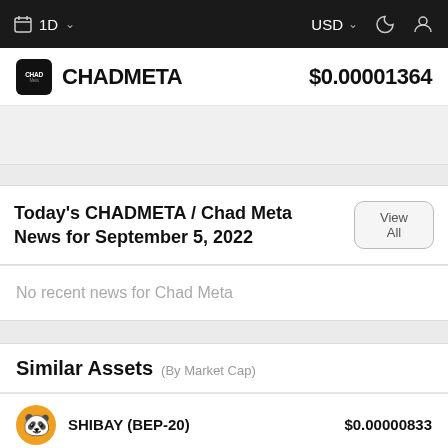1D   USD
CHADMETA   $0.00001364
Today's CHADMETA / Chad Meta News for September 5, 2022
No recent news for Chad Meta
Similar Assets (By Market Cap)
SHIBAY (BEP-20)   $0.00000833